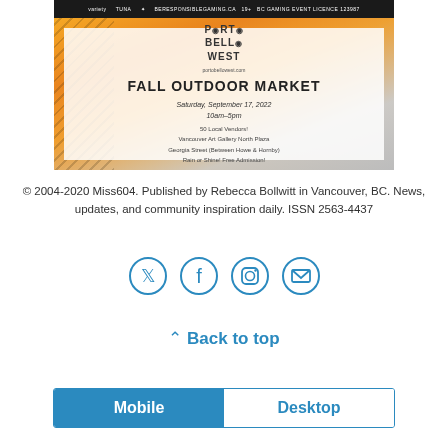[Figure (illustration): Portobello West Fall Outdoor Market advertisement banner. Top strip is dark/black with sponsor logos (Variety, TUNA, others). Below is a colorful orange and abstract background with a semi-transparent white overlay containing: PORTOBELLO WEST logo, portobellowest.com, FALL OUTDOOR MARKET heading, Saturday September 17 2022 10am-5pm, 50 Local Vendors, Vancouver Art Gallery North Plaza, Georgia Street (Between Howe & Hornby), Rain or Shine! Free Admission.]
© 2004-2020 Miss604. Published by Rebecca Bollwitt in Vancouver, BC. News, updates, and community inspiration daily. ISSN 2563-4437
[Figure (illustration): Four circular social media icons in blue outline style: Twitter bird icon, Facebook f icon, Instagram camera icon, Email envelope icon]
⌃ Back to top
Mobile    Desktop